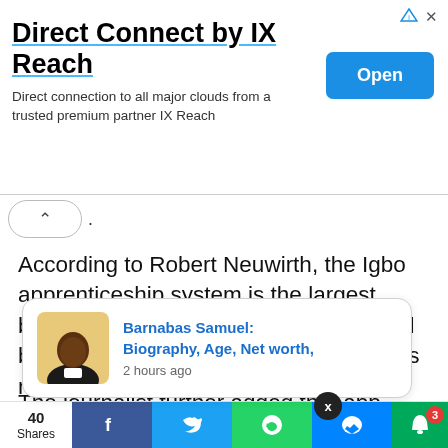[Figure (screenshot): Advertisement banner for 'Direct Connect by IX Reach' with an Open button, ad icons, and subtitle text.]
Direct Connect by IX Reach
Direct connection to all major clouds from a trusted premium partner IX Reach
[Figure (screenshot): Collapse/accordion button showing an up-arrow caret inside a pill-shaped button, with a period to the right.]
According to Robert Neuwirth, the Igbo apprenticeship system is the largest business incubator platform in the world because when an apprentice serves, his master is expected to set him up in business.
The journalist further added that apprenticeships that
[Figure (screenshot): Notification popup showing a photo of Barnabas Samuel with the text 'Barnabas Samuel: Biography, Age, Net worth,' and '2 hours ago', overlaid on partially visible text about 'ital and' and 'n propagat'.]
[Figure (screenshot): Social sharing bottom bar with Shares count (40), Facebook, Twitter, WhatsApp, Messenger, and notification bell buttons.]